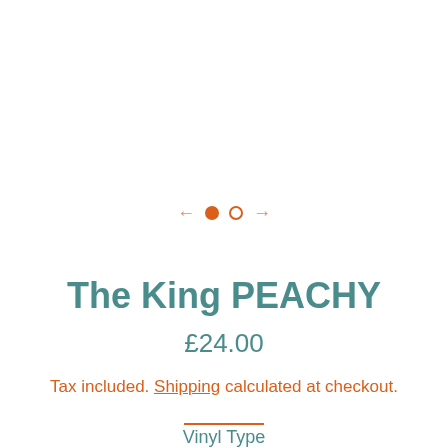[Figure (other): Image carousel navigation with left arrow, filled orange dot, empty circle dot, and right arrow]
The King PEACHY
£24.00
Tax included. Shipping calculated at checkout.
Vinyl Type